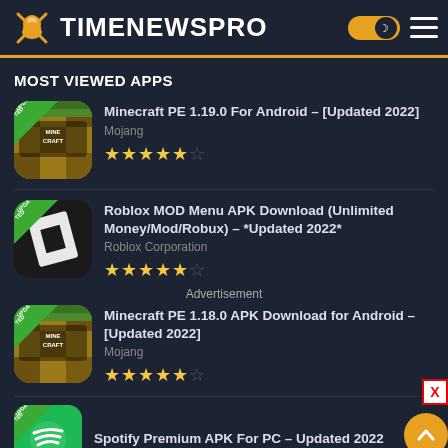TIMENEWSPRO
MOST VIEWED APPS
Minecraft PE 1.19.0 For Android – [Updated 2022]
Mojang
★★★★½
Roblox MOD Menu APK Download (Unlimited Money/Mod/Robux) – *Updated 2022*
Roblox Corporation
★★★★½
Advertisement
Minecraft PE 1.18.0 APK Download for Android – [Updated 2022]
Mojang
★★★★½
Spotify Premium APK For PC – Updated 2022